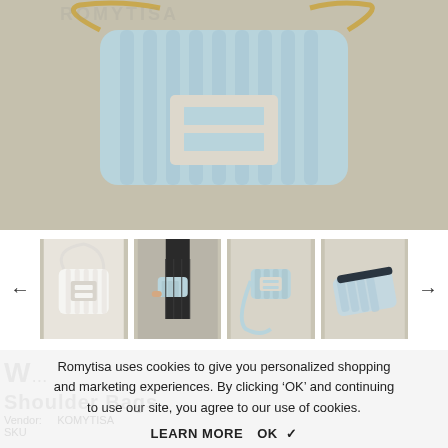[Figure (photo): Main product photo: light blue quilted leather shoulder bag with gold chain strap and rectangular buckle clasp, on beige/taupe background]
[Figure (photo): Thumbnail 1: White quilted bag on white background]
[Figure (photo): Thumbnail 2: Model holding light blue quilted bag, wearing black outfit]
[Figure (photo): Thumbnail 3: Light blue bag open/flap view with strap]
[Figure (photo): Thumbnail 4: Light blue bag interior/bottom view]
Romytisa uses cookies to give you personalized shopping and marketing experiences. By clicking ‘OK’ and continuing to use our site, you agree to our use of cookies.
LEARN MORE  OK ✓